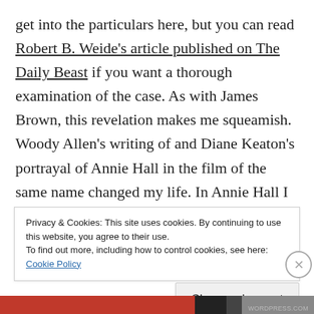get into the particulars here, but you can read Robert B. Weide's article published on The Daily Beast if you want a thorough examination of the case. As with James Brown, this revelation makes me squeamish. Woody Allen's writing of and Diane Keaton's portrayal of Annie Hall in the film of the same name changed my life. In Annie Hall I found a lovably awkward, tomboyish lifestyle guru that encouraged me to go with the crazy and accentuate my
Privacy & Cookies: This site uses cookies. By continuing to use this website, you agree to their use.
To find out more, including how to control cookies, see here: Cookie Policy
Close and accept